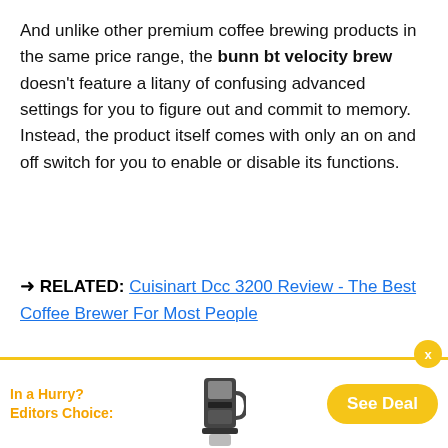And unlike other premium coffee brewing products in the same price range, the bunn bt velocity brew doesn't feature a litany of confusing advanced settings for you to figure out and commit to memory. Instead, the product itself comes with only an on and off switch for you to enable or disable its functions.
➜ RELATED: Cuisinart Dcc 3200 Review - The Best Coffee Brewer For Most People
This doesn't mean that it's any less capable than the others, but on the contrary, you'll find the simple setup extremely accessible and easy to work with. Here, all the different processes are completely automated at a perfect level, from heating up to brewing.
You can have the machine pre-heat the water inside to
[Figure (other): Advertisement bar at the bottom with product image of BUNN coffee maker, 'In a Hurry? Editors Choice:' text in orange, and a 'See Deal' yellow button. An X close button appears in the top right.]